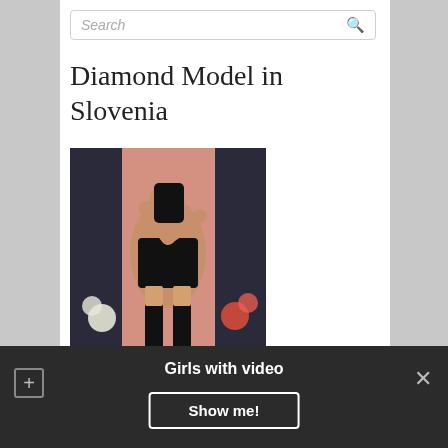Search
Diamond Model in Slovenia
[Figure (photo): Woman in black corset and stockings standing between dark and pink curtains with flowers, viewed from behind]
Girls with video
Show me!